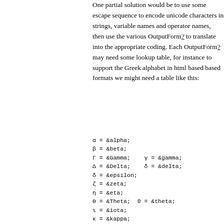One partial solution would be to use some escape sequence to encode unicode characters in strings, variable names and operator names, then use the various OutputForm? to translate into the appropriate coding. Each OutputForm? may need some lookup table, for instance to support the Greek alphabet in html based based formats we might need a table like this:
α = &alpha;
β = &beta;
Γ = &Gamma;   γ = &gamma;
Δ = &Delta;   δ = &delta;
δ = &epsilon;
ζ = &zeta;
η = &eta;
Θ = &Theta;  θ = &theta;
ι = &iota;
κ = &kappa;
Λ = &Lambda;  λ = &lambda;
μ = &mu;
ν = &nu;
Ξ = &Xi;  ξ = &xi;
ο = &omicron;